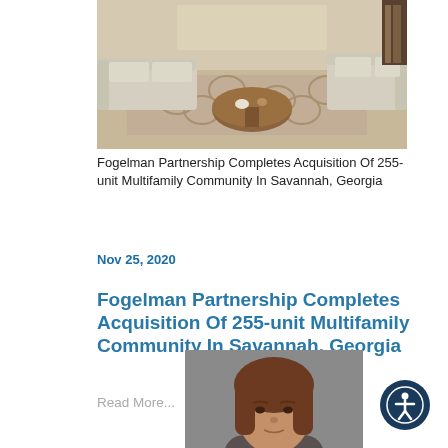[Figure (photo): Interior photo of a living room with sofas, a round wooden coffee table, and a patterned rug]
Fogelman Partnership Completes Acquisition Of 255-unit Multifamily Community In Savannah, Georgia
Nov 25, 2020
Fogelman Partnership Completes Acquisition Of 255-unit Multifamily Community In Savannah, Georgia
Read More...
[Figure (photo): Headshot of a woman with brown hair against a grey background]